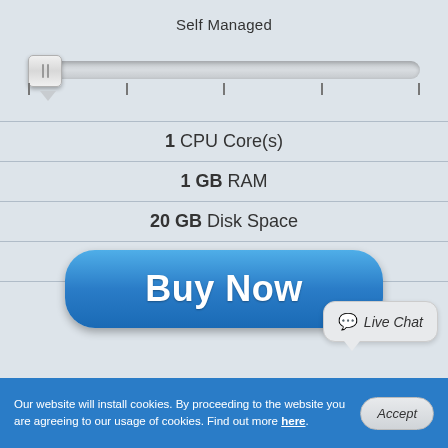Self Managed
[Figure (other): Horizontal slider control at leftmost position with tick marks]
1 CPU Core(s)
1 GB RAM
20 GB Disk Space
1 TB Monthly Traffic
[Figure (other): Blue 'Buy Now' button with Live Chat bubble overlay]
Our website will install cookies. By proceeding to the website you are agreeing to our usage of cookies. Find out more here.